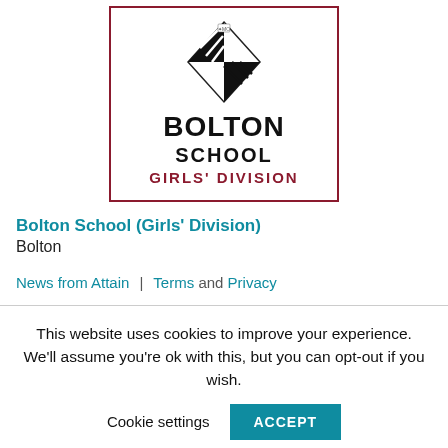[Figure (logo): Bolton School Girls' Division logo: a diamond-shaped crest with black and white chevrons and a crown motif, above the text BOLTON SCHOOL GIRLS' DIVISION, all within a dark red border rectangle.]
Bolton School (Girls' Division)
Bolton
News from Attain | Terms and Privacy
This website uses cookies to improve your experience. We'll assume you're ok with this, but you can opt-out if you wish.
Cookie settings  ACCEPT